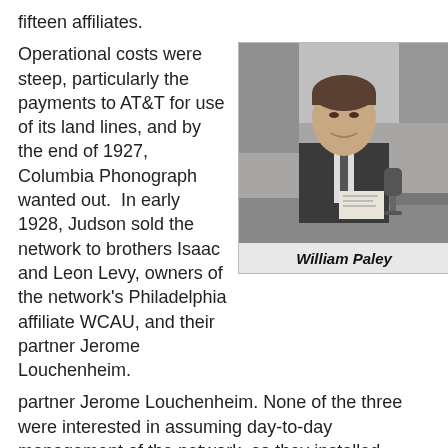fifteen affiliates.
Operational costs were steep, particularly the payments to AT&T for use of its land lines, and by the end of 1927, Columbia Phonograph wanted out.  In early 1928, Judson sold the network to brothers Isaac and Leon Levy, owners of the network's Philadelphia affiliate WCAU, and their partner Jerome Louchenheim. None of the three were interested in assuming day-to-day management of the network, so they installed wealthy 26-year-old William S. Paley, son of a Philadelphia cigar family and in-law of the Levys, as president. With the record company out of the picture, Paley quickly streamlined the corporate name to "Columbia Broadcasting System".   He believed in the power of radio advertising since his family's "La Palina" cigars had
[Figure (photo): Black and white photograph of William Paley, a man in a suit sitting at a desk with a microphone]
William Paley